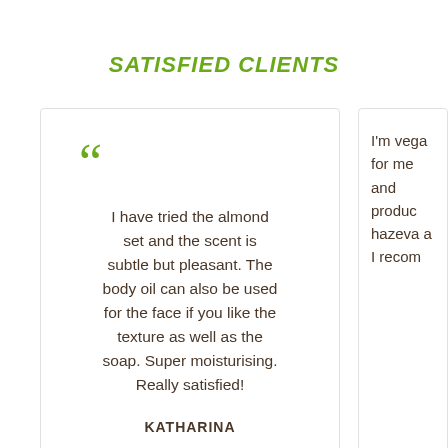SATISFIED CLIENTS
I have tried the almond set and the scent is subtle but pleasant. The body oil can also be used for the face if you like the texture as well as the soap. Super moisturising. Really satisfied!
KATHARINA
I'm vega... for me and produc... hazeva a... I recom...